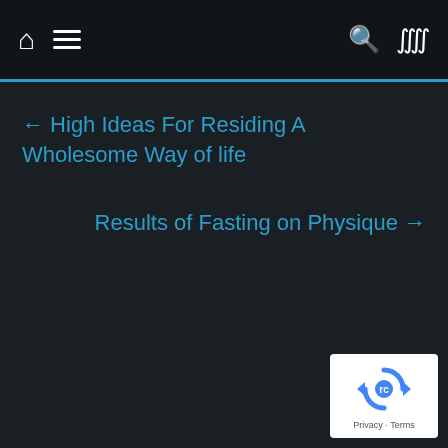Home | Menu | Search | Shuffle
← High Ideas For Residing A Wholesome Way of life
Results of Fasting on Physique →
[Figure (logo): Google reCAPTCHA badge with circular arrows logo and 'Privacy - Terms' text]